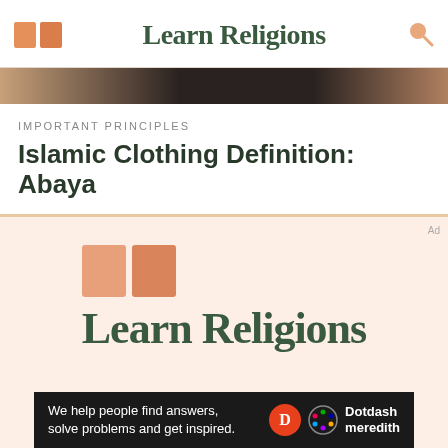Learn Religions
[Figure (photo): Hero image banner showing people in dark/brown tones, cropped portrait-style strip]
IMPORTANT PRINCIPLES
Islamic Clothing Definition: Abaya
[Figure (logo): Learn Religions logo with open book icon and brand name on peach/salmon background]
We help people find answers, solve problems and get inspired.
[Figure (logo): Dotdash Meredith logo in ad banner]